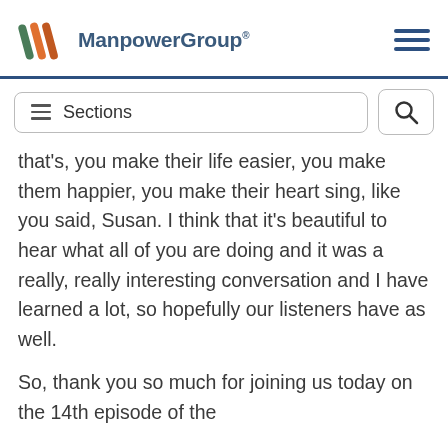[Figure (logo): ManpowerGroup logo with colored slash marks in orange and green, and company name in steel blue]
that's, you make their life easier, you make them happier, you make their heart sing, like you said, Susan. I think that it's beautiful to hear what all of you are doing and it was a really, really interesting conversation and I have learned a lot, so hopefully our listeners have as well.
So, thank you so much for joining us today on the 14th episode of the